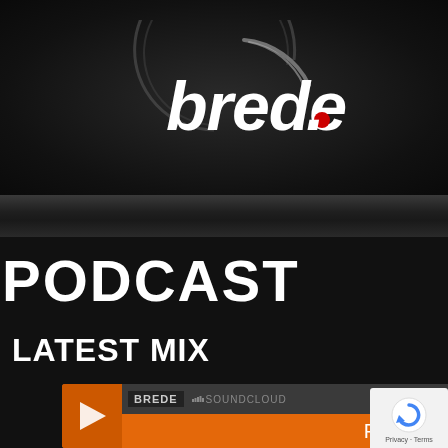[Figure (logo): Brede DJ logo - circular swoosh design with stylized italic text 'brede.' in white with a red dot, on dark background]
PODCAST
LATEST MIX
[Figure (screenshot): SoundCloud embedded player widget showing BREDE artist name with orange play button and 'Play on SoundCloud' button in orange]
[Figure (logo): reCAPTCHA badge with Privacy and Terms text]